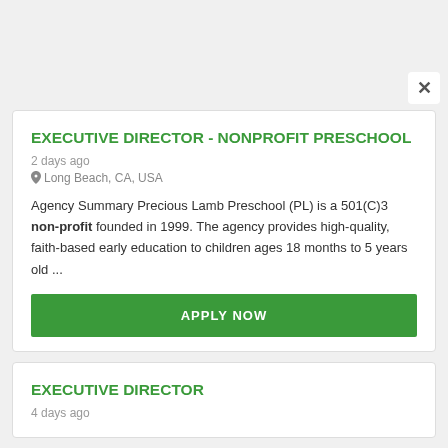EXECUTIVE DIRECTOR - NONPROFIT PRESCHOOL
2 days ago
Long Beach, CA, USA
Agency Summary Precious Lamb Preschool (PL) is a 501(C)3 non-profit founded in 1999. The agency provides high-quality, faith-based early education to children ages 18 months to 5 years old ...
APPLY NOW
EXECUTIVE DIRECTOR
4 days ago